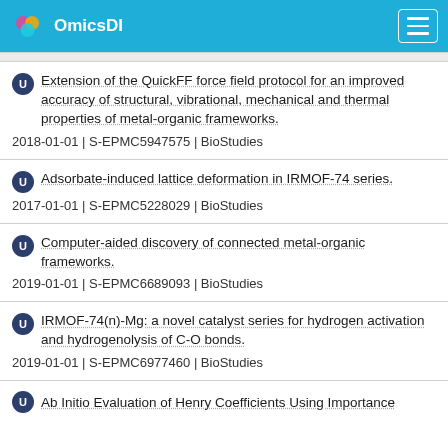OmicsDI
Extension of the QuickFF force field protocol for an improved accuracy of structural, vibrational, mechanical and thermal properties of metal-organic frameworks.
2018-01-01 | S-EPMC5947575 | BioStudies
Adsorbate-induced lattice deformation in IRMOF-74 series.
2017-01-01 | S-EPMC5228029 | BioStudies
Computer-aided discovery of connected metal-organic frameworks.
2019-01-01 | S-EPMC6689093 | BioStudies
IRMOF-74(n)-Mg: a novel catalyst series for hydrogen activation and hydrogenolysis of C-O bonds.
2019-01-01 | S-EPMC6977460 | BioStudies
Ab Initio Evaluation of Henry Coefficients Using Importance…